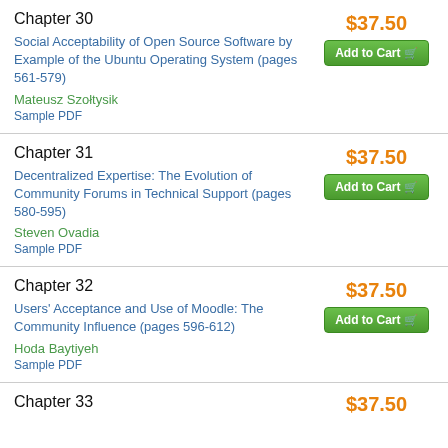Chapter 30
Social Acceptability of Open Source Software by Example of the Ubuntu Operating System (pages 561-579)
Mateusz Szołtysik
Sample PDF
$37.50
Chapter 31
Decentralized Expertise: The Evolution of Community Forums in Technical Support (pages 580-595)
Steven Ovadia
Sample PDF
$37.50
Chapter 32
Users' Acceptance and Use of Moodle: The Community Influence (pages 596-612)
Hoda Baytiyeh
Sample PDF
$37.50
Chapter 33
$37.50